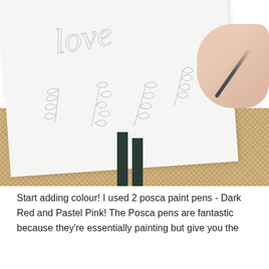[Figure (photo): A hand holding a pencil sketching leaf designs and the word 'love' in a dot-grid notebook journal, placed on a burlap/hessian surface with a dark ribbon bookmark visible.]
Start adding colour! I used 2 posca paint pens - Dark Red and Pastel Pink! The Posca pens are fantastic because they're essentially painting but give you the